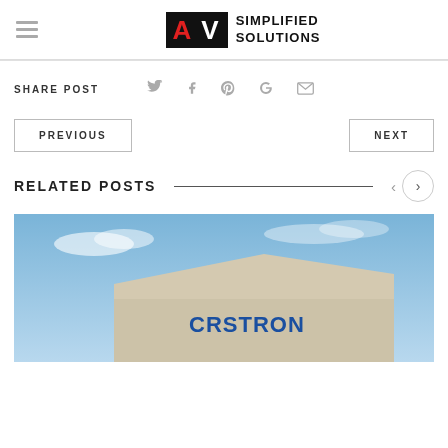[Figure (logo): AV Simplified Solutions logo with hamburger menu icon]
SHARE POST
[Figure (infographic): Social sharing icons: Twitter, Facebook, Pinterest, Google+, Email]
PREVIOUS
NEXT
RELATED POSTS
[Figure (photo): Exterior photo of a building with Crestron signage against a blue sky]